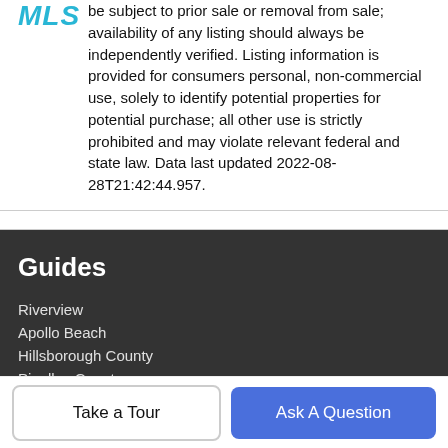be subject to prior sale or removal from sale; availability of any listing should always be independently verified. Listing information is provided for consumers personal, non-commercial use, solely to identify potential properties for potential purchase; all other use is strictly prohibited and may violate relevant federal and state law. Data last updated 2022-08-28T21:42:44.957.
Guides
Riverview
Apollo Beach
Hillsborough County
Pinellas County
Manatee County
More Guides >
Take a Tour
Ask A Question